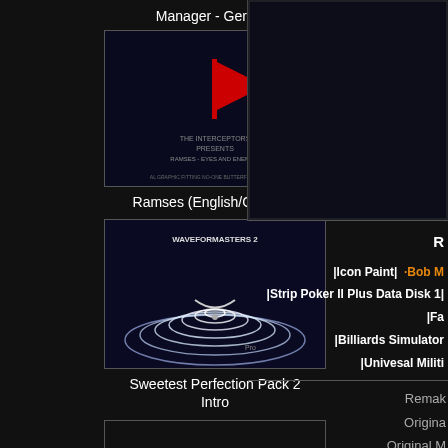Manager - German
[Figure (screenshot): Ramses game screenshot with red flag logo on dark blue background]
Ramses (English/German)
[Figure (screenshot): Sweetest Perfection Pack 2 Intro - abstract wavy lines on dark background]
Sweetest Perfection Pack 2 Intro
[Figure (screenshot): Disposable Hero - blank/dark screenshot thumbnail]
Disposable Hero
[Figure (screenshot): Blank/dark screenshot thumbnail]
[Figure (screenshot): Large panel on right side - dark with partial border]
R
|Icon Paint|  |Bob M
|Strip Poker II Plus Data Disk 1|  |Fa
|Billiards Simulator
|Univesal Militi
Remake
Origina
Original M
Origin
Re
Re